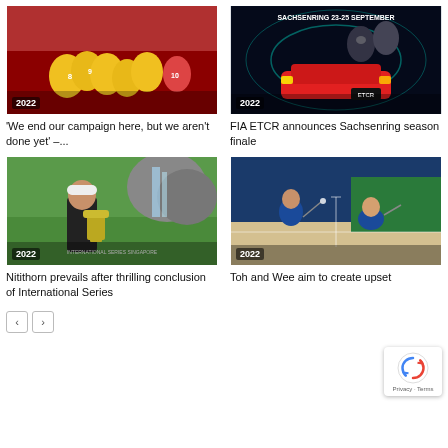[Figure (photo): Women's football players in yellow jerseys celebrating, year badge 2022]
'We end our campaign here, but we aren't done yet' –...
[Figure (photo): FIA ETCR promotional image showing racing drivers and car with Sachsenring 23-25 September text, year badge 2022]
FIA ETCR announces Sachsenring season finale
[Figure (photo): Golfer holding trophy with waterfall background, International Series Singapore logo, year badge 2022]
Nitithorn prevails after thrilling conclusion of International Series
[Figure (photo): Two badminton players in action on indoor court, year badge 2022]
Toh and Wee aim to create upset